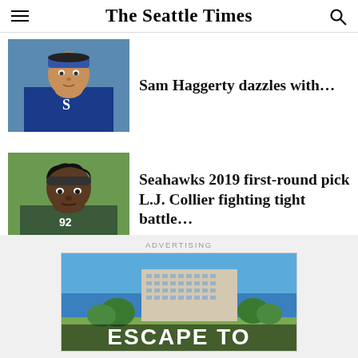The Seattle Times
[Figure (photo): Photo of Sam Haggerty wearing a blue bandana headband, close-up portrait]
Sam Haggerty dazzles with…
[Figure (photo): Photo of L.J. Collier wearing a headband, close-up portrait]
Seahawks 2019 first-round pick L.J. Collier fighting tight battle…
ADVERTISING
[Figure (photo): Advertisement image showing a beachside hotel with 'ESCAPE TO' text overlay]